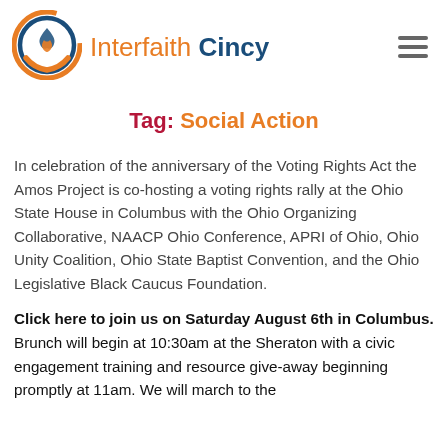[Figure (logo): Interfaith Cincy logo with circular icon and text]
Tag: Social Action
In celebration of the anniversary of the Voting Rights Act the Amos Project is co-hosting a voting rights rally at the Ohio State House in Columbus with the Ohio Organizing Collaborative, NAACP Ohio Conference, APRI of Ohio, Ohio Unity Coalition, Ohio State Baptist Convention, and the Ohio Legislative Black Caucus Foundation.
Click here to join us on Saturday August 6th in Columbus.   Brunch will begin at 10:30am at the Sheraton with a civic engagement training and resource give-away beginning promptly at 11am. We will march to the